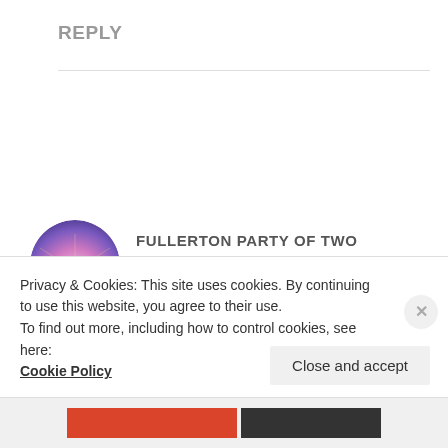REPLY
[Figure (illustration): Circular avatar image showing two silhouetted figures (couple) against a pink/purple sunset sky]
FULLERTON PARTY OF TWO
January 2, 2016 at 1:25 AM
Privacy & Cookies: This site uses cookies. By continuing to use this website, you agree to their use.
To find out more, including how to control cookies, see here:
Cookie Policy
Close and accept